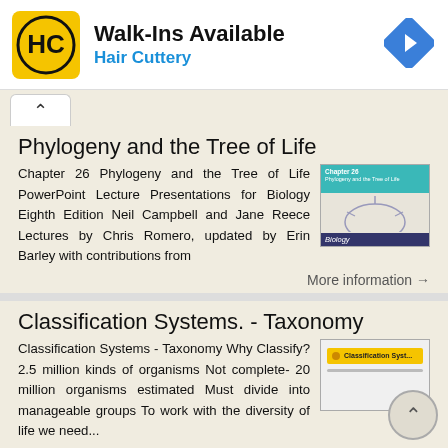[Figure (logo): Hair Cuttery advertisement banner with HC logo, 'Walk-Ins Available' text, and navigation icon]
Phylogeny and the Tree of Life
Chapter 26 Phylogeny and the Tree of Life PowerPoint Lecture Presentations for Biology Eighth Edition Neil Campbell and Jane Reece Lectures by Chris Romero, updated by Erin Barley with contributions from
[Figure (photo): Thumbnail of Chapter 26 Biology textbook slide - teal header with chapter title, middle section with biology imagery, dark blue bottom bar]
More information →
Classification Systems. - Taxonomy
Classification Systems - Taxonomy Why Classify? 2.5 million kinds of organisms Not complete- 20 million organisms estimated Must divide into manageable groups To work with the diversity of life we need...
[Figure (photo): Thumbnail of Classification Systems slideshow]